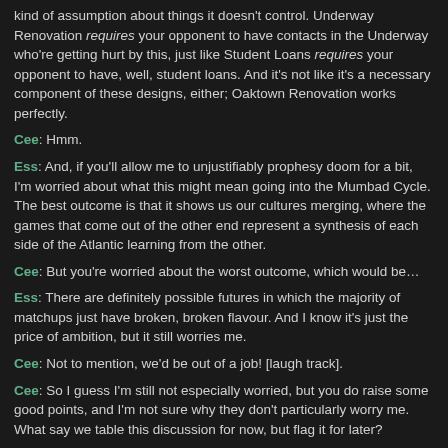kind of assumption about things it doesn't control. Underway Renovation requires your opponent to have contacts in the Underway who're getting hurt by this, just like Student Loans requires your opponent to have, well, student loans. And it's not like it's a necessary component of these designs, either; Oaktown Renovation works perfectly.
Cee: Hmm.
Ess: And, if you'll allow me to unjustifiably prophesy doom for a bit, I'm worried about what this might mean going into the Mumbad Cycle. The best outcome is that it shows us our cultures merging, where the games that come out of the other end represent a synthesis of each side of the Atlantic learning from the other.
Cee: But you're worried about the worst outcome, which would be…
Ess: There are definitely possible futures in which the majority of matchups just have broken, broken flavour. And I know it's just the price of ambition, but it still worries me.
Cee: Not to mention, we'd be out of a job! [laugh track].
Cee: So I guess I'm still not especially worried, but you do raise some good points, and I'm not sure why they don't particularly worry me. What say we table this discussion for now, but flag it for later?
Ess: Sure, I'm good with that. Underway Renovation, then. B?
Cee: I'm inclined towards an A-.